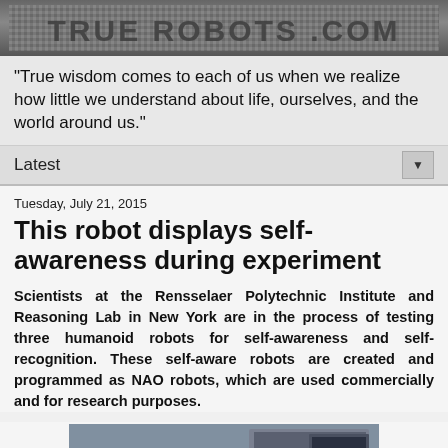True Robots Header Banner
"True wisdom comes to each of us when we realize how little we understand about life, ourselves, and the world around us."
Latest
Tuesday, July 21, 2015
This robot displays self-awareness during experiment
Scientists at the Rensselaer Polytechnic Institute and Reasoning Lab in New York are in the process of testing three humanoid robots for self-awareness and self-recognition. These self-aware robots are created and programmed as NAO robots, which are used commercially and for research purposes.
[Figure (photo): Photo of NAO humanoid robots on a table in a lab setting, showing two small blue humanoid robots facing each other]